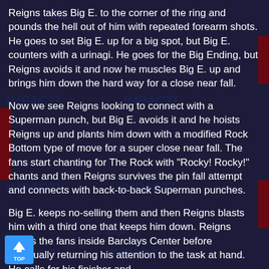Reigns takes Big E. to the corner of the ring and pounds the hell out of him with repeated forearm shots. He goes to set Big E. up for a big spot, but Big E. counters with a urinagi. He goes for the Big Ending, but Reigns avoids it and now he muscles Big E. up and brings him down the hard way for a close near fall.
Now we see Reigns looking to connect with a Superman punch, but Big E. avoids it and he hoists Reigns up and plants him down with a modified Rock Bottom type of move for a super close near fall. The fans start chanting for The Rock with "Rocky! Rocky!" chants and then Reigns survives the pin fall attempt and connects with back-to-back Superman punches.
Big E. keeps no-selling them and then Reigns blasts him with a third one that keeps him down. Reigns taunts the fans inside Barclays Center before eventually returning his attention to the task at hand. He calls for his finisher and the Big E. and his corner man are both fear of it and